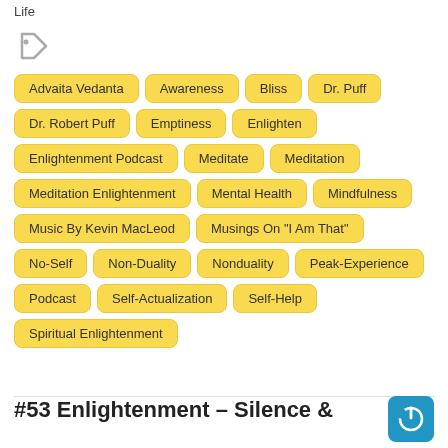Life
Advaita Vedanta
Awareness
Bliss
Dr. Puff
Dr. Robert Puff
Emptiness
Enlighten
Enlightenment Podcast
Meditate
Meditation
Meditation Enlightenment
Mental Health
Mindfulness
Music By Kevin MacLeod
Musings On "I Am That"
No-Self
Non-Duality
Nonduality
Peak-Experience
Podcast
Self-Actualization
Self-Help
Spiritual Enlightenment
#53 Enlightenment – Silence &